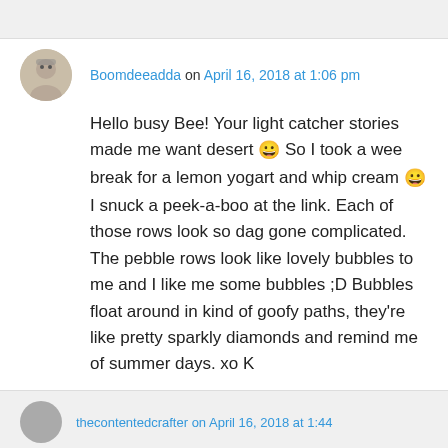Boomdeeadda on April 16, 2018 at 1:06 pm
Hello busy Bee! Your light catcher stories made me want desert 😀 So I took a wee break for a lemon yogart and whip cream 😀 I snuck a peek-a-boo at the link. Each of those rows look so dag gone complicated. The pebble rows look like lovely bubbles to me and I like me some bubbles ;D Bubbles float around in kind of goofy paths, they're like pretty sparkly diamonds and remind me of summer days. xo K
★ Liked by 1 person
thecontentedcrafter on April 16, 2018 at 1:44